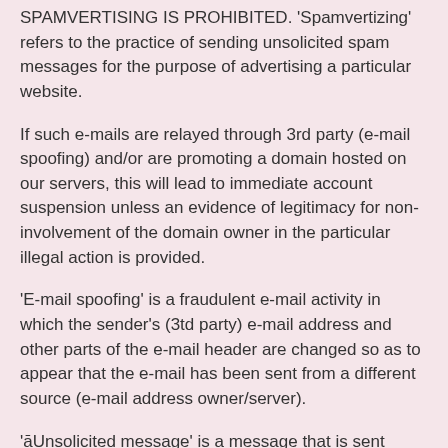SPAMVERTISING IS PROHIBITED. 'Spamvertizing' refers to the practice of sending unsolicited spam messages for the purpose of advertising a particular website.
If such e-mails are relayed through 3rd party (e-mail spoofing) and/or are promoting a domain hosted on our servers, this will lead to immediate account suspension unless an evidence of legitimacy for non-involvement of the domain owner in the particular illegal action is provided.
'E-mail spoofing' is a fraudulent e-mail activity in which the sender's (3td party) e-mail address and other parts of the e-mail header are changed so as to appear that the e-mail has been sent from a different source (e-mail address owner/server).
'āUnsolicited message' is a message that is sent against the privacy policy of a newsgroup, or is sent to a recipient without their explicit permission. We, at our sole discretion, shall determine whether any of the messages you are sending is spam or spamvertizing. For your information, spamming